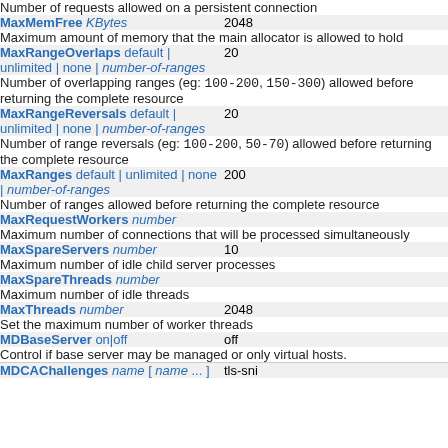| Directive | Default |
| --- | --- |
| Number of requests allowed on a persistent connection |  |
| MaxMemFree KBytes | 2048 |
| Maximum amount of memory that the main allocator is allowed to hold |  |
| MaxRangeOverlaps default | unlimited | none | number-of-ranges | 20 |
| Number of overlapping ranges (eg: 100-200, 150-300) allowed before returning the complete resource |  |
| MaxRangeReversals default | unlimited | none | number-of-ranges | 20 |
| Number of range reversals (eg: 100-200, 50-70) allowed before returning the complete resource |  |
| MaxRanges default | unlimited | none | number-of-ranges | 200 |
| Number of ranges allowed before returning the complete resource |  |
| MaxRequestWorkers number |  |
| Maximum number of connections that will be processed simultaneously |  |
| MaxSpareServers number | 10 |
| Maximum number of idle child server processes |  |
| MaxSpareThreads number |  |
| Maximum number of idle threads |  |
| MaxThreads number | 2048 |
| Set the maximum number of worker threads |  |
| MDBaseServer on|off | off |
| Control if base server may be managed or only virtual hosts. |  |
| MDCAChallenges name [ name ... ] | tls-sni |